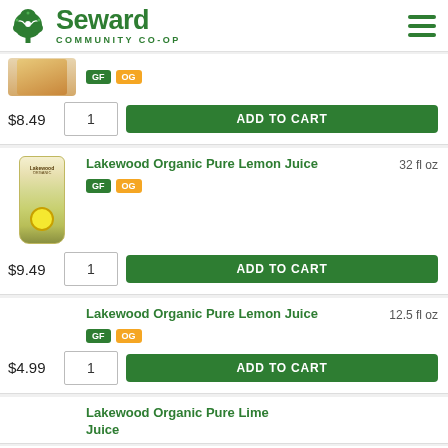[Figure (logo): Seward Community Co-op logo with green tree icon and hamburger menu]
$8.49 | 1 | ADD TO CART (partial product card, GF OG badges visible)
Lakewood Organic Pure Lemon Juice, 32 fl oz, GF OG, $9.49, ADD TO CART
Lakewood Organic Pure Lemon Juice, 12.5 fl oz, GF OG, $4.99, ADD TO CART
Lakewood Organic Pure Lime Juice (partial, bottom of page)